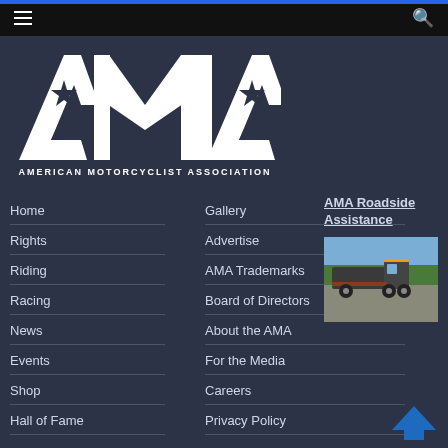AMA navigation bar with hamburger menu and search icon
[Figure (logo): American Motorcyclist Association (AMA) logo - large white AMA letters with stars above text AMERICAN MOTORCYCLIST ASSOCIATION]
Home
Rights
Riding
Racing
News
Events
Shop
Hall of Fame
Gallery
Advertise
AMA Trademarks
Board of Directors
About the AMA
For the Media
Careers
Privacy Policy
AMA Roadside Assistance
[Figure (photo): Photo of a flatbed tow truck on a road with trees in background]